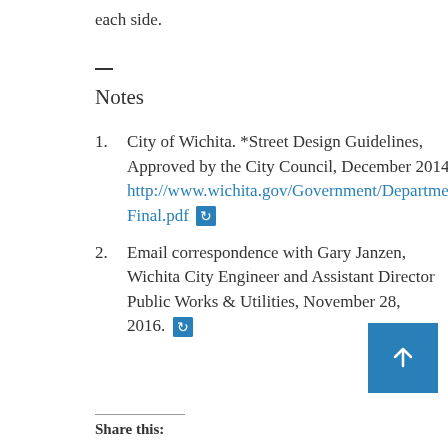each side.
Notes
City of Wichita. *Street Design Guidelines, Approved by the City Council, December 2014. http://www.wichita.gov/Government/Departme.../Final.pdf
Email correspondence with Gary Janzen, Wichita City Engineer and Assistant Director Public Works & Utilities, November 28, 2016.
Share this: